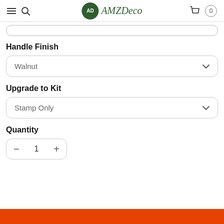AMZ Deco — navigation header with hamburger menu, search icon, logo, and cart (0)
Handle Finish
Walnut
Upgrade to Kit
Stamp Only
Quantity
1